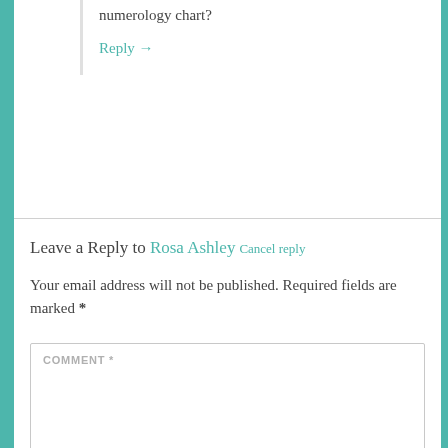Did you enjoy it? Have you done your own numerology chart?
Reply →
Leave a Reply to Rosa Ashley Cancel reply
Your email address will not be published. Required fields are marked *
COMMENT *